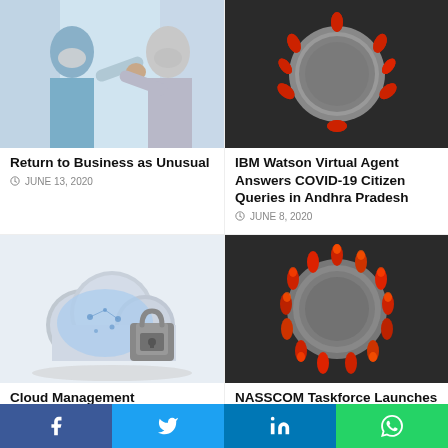[Figure (photo): Two people in masks doing an elbow bump greeting in an office setting]
Return to Business as Unusual
JUNE 13, 2020
[Figure (photo): 3D render of a coronavirus / COVID-19 particle closeup]
IBM Watson Virtual Agent Answers COVID-19 Citizen Queries in Andhra Pradesh
JUNE 8, 2020
[Figure (photo): 3D rendered cloud with padlock security icon illustration]
Cloud Management Consistency Can Reduce Security Breaches: Study
[Figure (photo): 3D render of a coronavirus / COVID-19 particle closeup]
NASSCOM Taskforce Launches COVID-19 Platform for Government of Karnataka